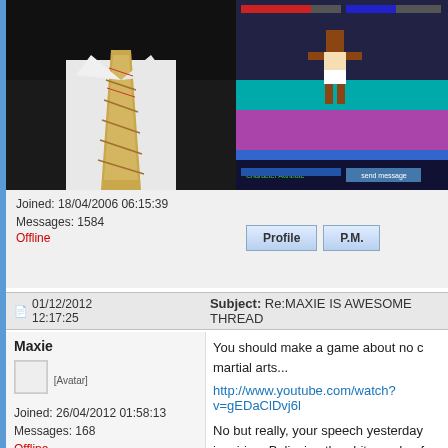[Figure (photo): Photo of person wearing a golden/cream patterned tie and white shirt, against dark background - top portion visible]
[Figure (screenshot): Retro video game screenshot showing a character (boxer) on a colorful background with health bars and UI elements]
Joined: 18/04/2006 06:15:39
Messages: 1584
Offline
[Figure (other): Profile and P.M. buttons]
01/12/2012 12:17:25   Subject: Re:MAXIE IS AWESOME THREAD
Maxie
[Figure (other): Small avatar placeholder [Avatar]]
Joined: 26/04/2012 01:58:13
Messages: 168
Offline
You should make a game about no co martial arts...

http://www.youtube.com/watch?v=gEDaClDvj6l

No but really, your speech yesterday inspiring. Believing the shit you do af years of struggle. You should call We Herzog up, maybe he makes a docum about you.

http://www.youtube.com/watch?v=B4i5WkkXdmc